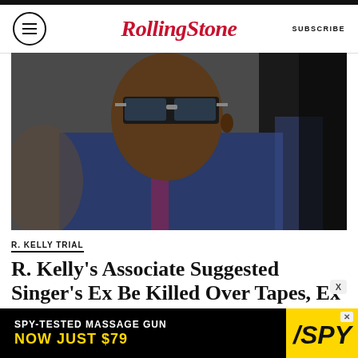Rolling Stone — SUBSCRIBE
[Figure (photo): Man in suit and sunglasses, side profile, looking stern]
R. KELLY TRIAL
R. Kelly's Associate Suggested Singer's Ex Be Killed Over Tapes, Ex Testifies
BY ALTHEA LEGASPI
[Figure (other): Advertisement: SPY-TESTED MASSAGE GUN NOW JUST $79 with SPY logo]